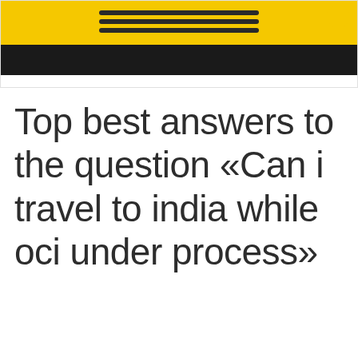[Figure (illustration): Partial image showing a yellow object (possibly a vehicle or ball) with dark stripes at the top, a large black band below it, and a small yellow circle in the upper right corner. The image is cropped at the top.]
Top best answers to the question «Can i travel to india while oci under process»